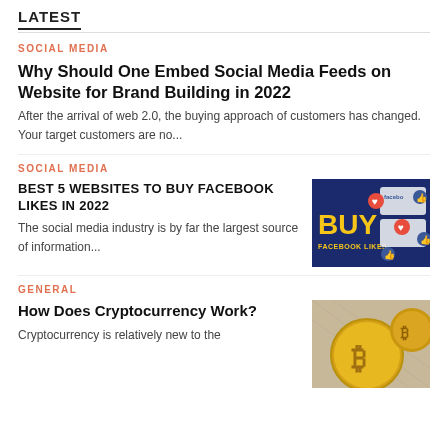LATEST
SOCIAL MEDIA
Why Should One Embed Social Media Feeds on Website for Brand Building in 2022
After the arrival of web 2.0, the buying approach of customers has changed. Your target customers are no...
SOCIAL MEDIA
BEST 5 WEBSITES TO BUY FACEBOOK LIKES IN 2022
The social media industry is by far the largest source of information...
[Figure (photo): Promotional image with navy blue background showing Facebook likes and BUY FACEBOOK LIKES text with heart and thumbs-up icons]
GENERAL
How Does Cryptocurrency Work?
Cryptocurrency is relatively new to the
[Figure (photo): Close-up photo of gold Bitcoin cryptocurrency coins]